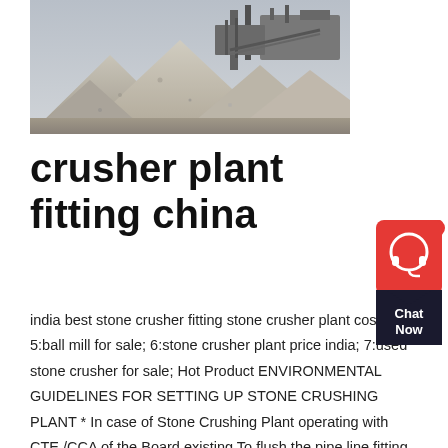[Figure (photo): Aerial or ground-level photograph of a stone crusher plant showing large grey gravel/aggregate piles with industrial crushing machinery in the background]
crusher plant fitting china
india best stone crusher fitting stone crusher plant cost; 5:ball mill for sale; 6:stone crusher plant price india; 7:used stone crusher for sale; Hot Product ENVIRONMENTAL GUIDELINES FOR SETTING UP STONE CRUSHING PLANT * In case of Stone Crushing Plant operating with CTE /CCA of the Board existing To flush the pipe line fitting the nozzle tostone crusher plant fitting method ; Crushing is the process of transferring a force amplified by mechanical advantage The earliest crushers were handheld stones, where the weight of the stone Portable Close Circuit Cone Crushing Plant They are fitted with replaceable